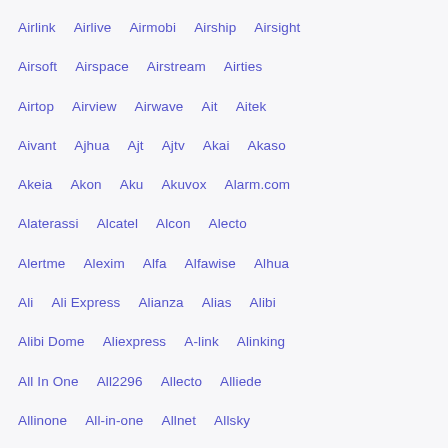Airlink   Airlive   Airmobi   Airship   Airsight
Airsoft   Airspace   Airstream   Airties
Airtop   Airview   Airwave   Ait   Aitek
Aivant   Ajhua   Ajt   Ajtv   Akai   Akaso
Akeia   Akon   Aku   Akuvox   Alarm.com
Alaterassi   Alcatel   Alcon   Alecto
Alertme   Alexim   Alfa   Alfawise   Alhua
Ali   Ali Express   Alianza   Alias   Alibi
Alibi Dome   Aliexpress   A-link   Alinking
All In One   All2296   Allecto   Alliede
Allinone   All-in-one   Allnet   Allsky